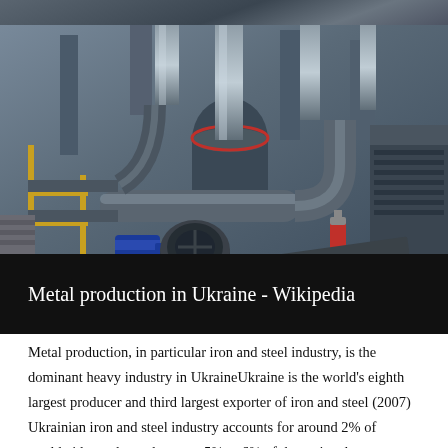[Figure (photo): Industrial machinery and equipment, likely a steel or metal production facility, showing large pipes, ducts, a blue electric motor, and heavy industrial structures in a grey-toned industrial setting.]
Metal production in Ukraine - Wikipedia
Metal production, in particular iron and steel industry, is the dominant heavy industry in UkraineUkraine is the world's eighth largest producer and third largest exporter of iron and steel (2007) Ukrainian iron and steel industry accounts for around 2% of worldwide crude steel output, 5% to 6% of the national gross domestic product and 34% of Ukrainian